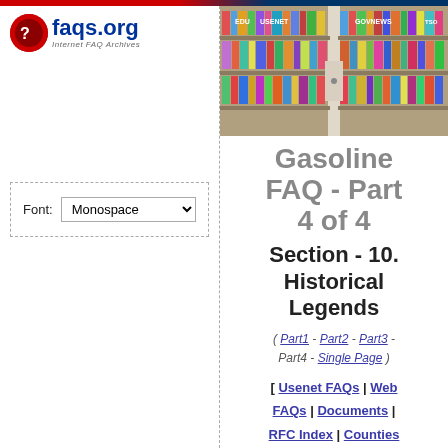[Figure (screenshot): faqs.org logo with red circle icon and blue text]
Font: Monospace (dropdown selector)
[Figure (photo): Bookshelf image showing library shelves with books, labeled EDU, USENET, GOVNEWS, TSO]
Gasoline FAQ - Part 4 of 4
Section - 10. Historical Legends
( Part1 - Part2 - Part3 - Part4 - Single Page )
[ Usenet FAQs | Web FAQs | Documents | RFC Index | Counties ]